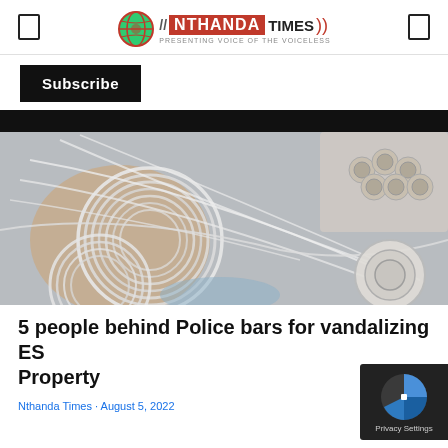// NTHANDA TIMES — Presenting Voice of the Voiceless
Subscribe
[Figure (photo): Close-up photo of coiled white electrical wires and cable spools/connectors on a surface — items allegedly vandalized from ESCOM (electricity utility) property.]
5 people behind Police bars for vandalizing ESCOM Property
Nthanda Times · August 5, 2022